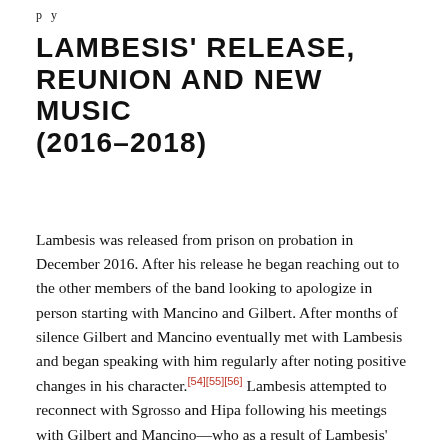p y
LAMBESIS' RELEASE, REUNION AND NEW MUSIC (2016–2018)
Lambesis was released from prison on probation in December 2016. After his release he began reaching out to the other members of the band looking to apologize in person starting with Mancino and Gilbert. After months of silence Gilbert and Mancino eventually met with Lambesis and began speaking with him regularly after noting positive changes in his character.[54][55][56] Lambesis attempted to reconnect with Sgrosso and Hipa following his meetings with Gilbert and Mancino—who as a result of Lambesis' actions and the strain it put on their relationships—had stopped speaking to each other following the [continues]